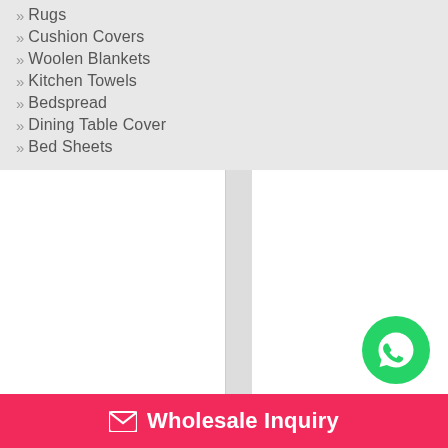Rugs
Cushion Covers
Woolen Blankets
Kitchen Towels
Bedspread
Dining Table Cover
Bed Sheets
[Figure (logo): WhatsApp contact button - green circle with white phone/chat icon]
Wholesale Inquiry